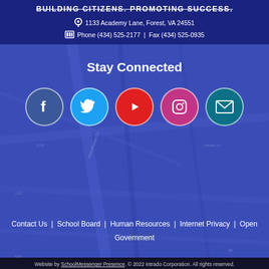BUILDING CITIZENS. PROMOTING SUCCESS.
1133 Academy Lane, Forest, VA 24551
Phone (434) 525-2177 | Fax (434) 525-0935
Stay Connected
[Figure (other): Social media icons: Facebook (blue circle), Twitter (light blue circle), YouTube (red circle), Instagram (red circle), Email/envelope (teal circle)]
Contact Us | School Board | Human Resources | Internet Privacy | Open Government
Website by SchoolMessenger Presence. © 2022 Intrado Corporation. All rights reserved.